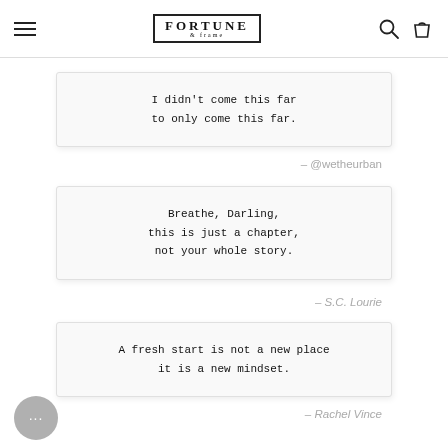FORTUNE & FRAME (logo with navigation icons)
I didn't come this far
to only come this far.
— @wetheurban
Breathe, Darling,
this is just a chapter,
not your whole story.
— S.C. Lourie
A fresh start is not a new place
it is a new mindset.
— Rachel Vince